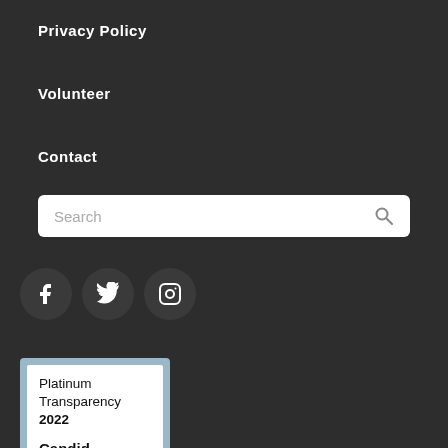Privacy Policy
Volunteer
Contact
Search
[Figure (infographic): Social media icons: Facebook, Twitter, Instagram in dark circular buttons]
[Figure (infographic): Platinum Transparency 2022 Candid. badge with light blue border on white background]